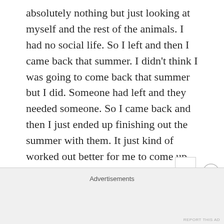absolutely nothing but just looking at myself and the rest of the animals. I had no social life. So I left and then I came back that summer. I didn't think I was going to come back that summer but I did. Someone had left and they needed someone. So I came back and then I just ended up finishing out the summer with them. It just kind of worked out better for me to come up when the season is about to start for them. They want me to come back in April/May. That's before the tents even open. Because now I'm
Advertisements